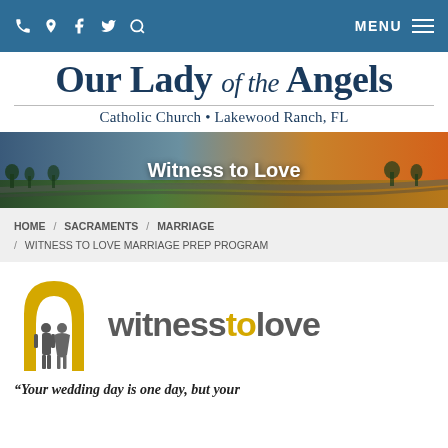Navigation bar with icons (phone, location, facebook, twitter, search) and MENU
Our Lady of the Angels Catholic Church • Lakewood Ranch, FL
[Figure (photo): Aerial landscape banner photo with text overlay 'Witness to Love']
HOME / SACRAMENTS / MARRIAGE / WITNESS TO LOVE MARRIAGE PREP PROGRAM
[Figure (logo): Witness to Love logo with yellow arch icon and two silhouettes, text 'witnesstolove']
"Your wedding day is one day, but your